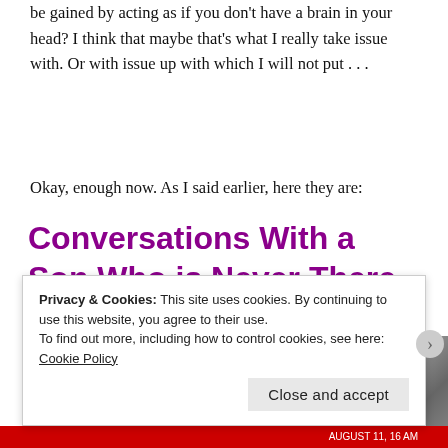be gained by acting as if you don't have a brain in your head? I think that maybe that's what I really take issue with. Or with issue up with which I will not put . . .
Okay, enough now. As I said earlier, here they are:
Conversations With a Son Who is Never There
Penia Speaks to Eros
[Figure (photo): A stone or rock sculpture photograph, partial view, dark background]
Privacy & Cookies: This site uses cookies. By continuing to use this website, you agree to their use.
To find out more, including how to control cookies, see here: Cookie Policy
Close and accept